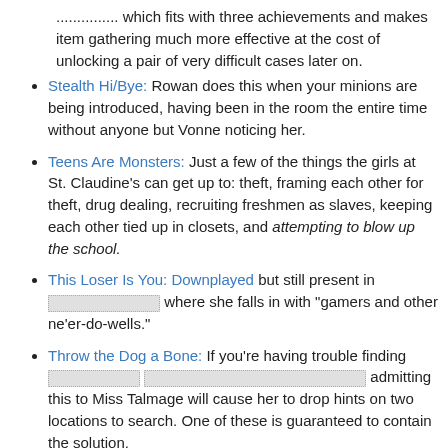...which fits with three achievements and makes item gathering much more effective at the cost of unlocking a pair of very difficult cases later on.
Stealth Hi/Bye: Rowan does this when your minions are being introduced, having been in the room the entire time without anyone but Vonne noticing her.
Teens Are Monsters: Just a few of the things the girls at St. Claudine's can get up to: theft, framing each other for theft, drug dealing, recruiting freshmen as slaves, keeping each other tied up in closets, and attempting to blow up the school.
This Loser Is You: Downplayed but still present in [redacted] where she falls in with "gamers and other ne'er-do-wells."
Throw the Dog a Bone: If you're having trouble finding [redacted] admitting this to Miss Talmage will cause her to drop hints on two locations to search. One of these is guaranteed to contain the solution.